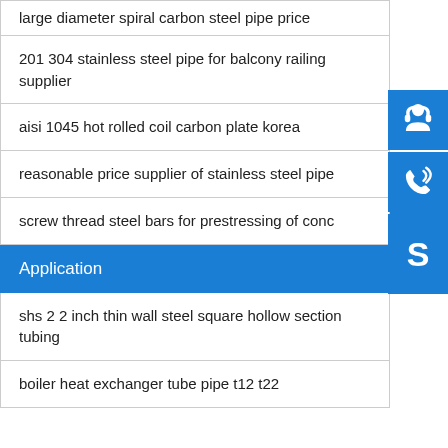large diameter spiral carbon steel pipe price
201 304 stainless steel pipe for balcony railing supplier
aisi 1045 hot rolled coil carbon plate korea
reasonable price supplier of stainless steel pipe
screw thread steel bars for prestressing of conc
Application
shs 2 2 inch thin wall steel square hollow section tubing
boiler heat exchanger tube pipe t12 t22